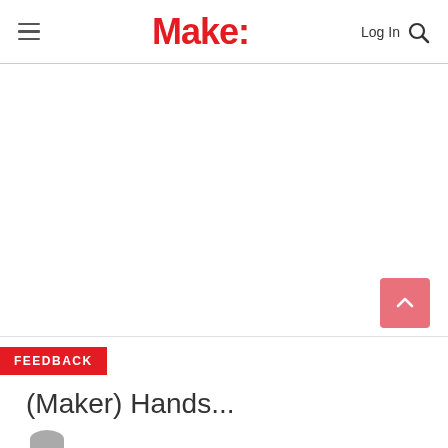Make:
[Figure (other): Large white/blank advertisement space below the header navigation]
(Maker) Hands...
FEEDBACK